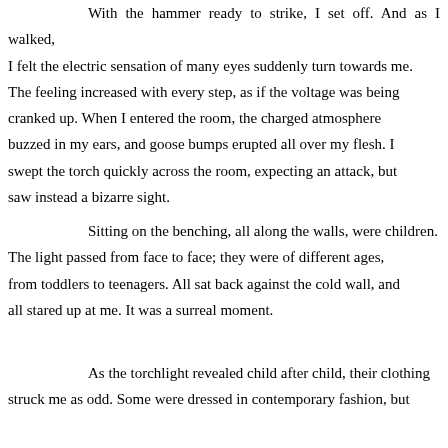With the hammer ready to strike, I set off.  And as I walked, I felt the electric sensation of many eyes suddenly turn towards me. The feeling increased with every step, as if the voltage was being cranked up. When I entered the room, the charged atmosphere buzzed in my ears, and goose bumps erupted all over my flesh. I swept the torch quickly across the room, expecting an attack, but saw instead a bizarre sight.
Sitting on the benching, all along the walls, were children. The light passed from face to face; they were of different ages, from toddlers to teenagers. All sat back against the cold wall, and all stared up at me. It was a surreal moment.
As the torchlight revealed child after child, their clothing struck me as odd. Some were dressed in contemporary fashion, but others in an old-fashioned dress or demin jeans...